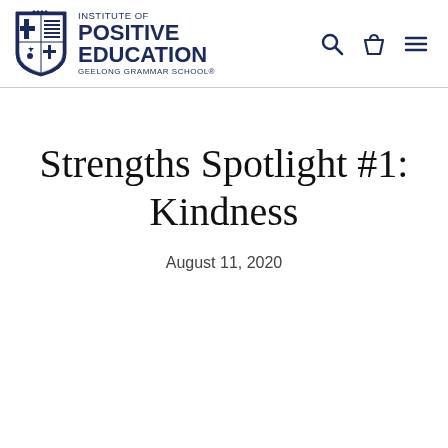Institute of Positive Education — Geelong Grammar School
Strengths Spotlight #1: Kindness
August 11, 2020